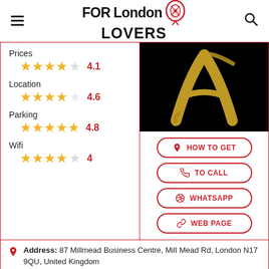FOR London LOVERS
Prices
4.1
Location
4.6
Parking
4.8
Wifi
4
[Figure (photo): Black background with a large golden brushstroke letter A]
HOW TO GET
TO CALL
WHATSAPP
WEB PAGE
Address: 87 Millmead Business Centre, Mill Mead Rd, London N17 9QU, United Kingdom